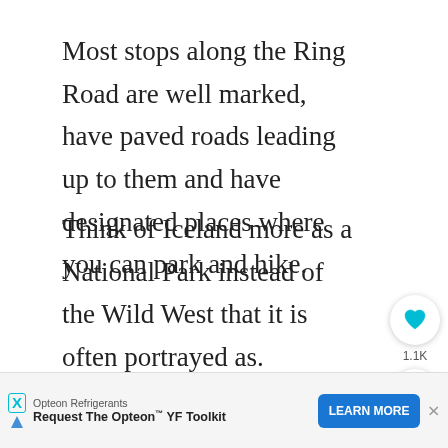Most stops along the Ring Road are well marked, have paved roads leading up to them and have designated places where you can park and hike.
Think of Iceland more as a National Park instead of the Wild West that it is often portrayed as. Although there are many hidden gems in Iceland too, don't be too disappointed to find out that Iceland is quite structured, has good roads but also tons of people trying to see the same things as you are.
A week is about the minimum time you should take to...
[Figure (infographic): Social sharing widget with heart/like button showing 1.1K count and a share icon button]
[Figure (infographic): What's Next widget showing a thumbnail and link to 'Guide To Hiking Bark...']
[Figure (infographic): Advertisement bar for Opteon Refrigerants: 'Request The Opteon YF Toolkit' with LEARN MORE button]